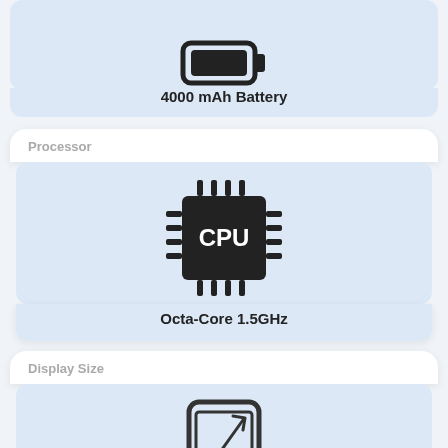[Figure (illustration): Battery icon at top of card, partially cropped]
4000 mAh Battery
Processor
[Figure (illustration): CPU chip icon with pins on all sides, labeled CPU in center]
Octa-Core 1.5GHz
Display Size
[Figure (illustration): Smartphone icon with diagonal arrow indicating screen size measurement]
6.53"